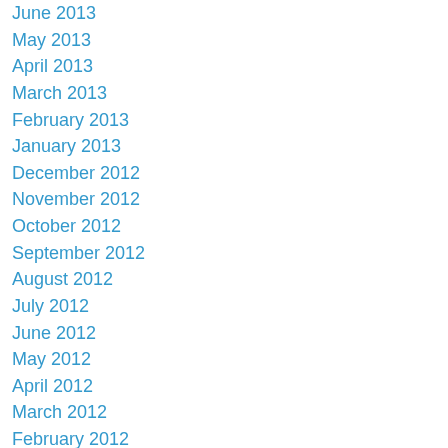June 2013
May 2013
April 2013
March 2013
February 2013
January 2013
December 2012
November 2012
October 2012
September 2012
August 2012
July 2012
June 2012
May 2012
April 2012
March 2012
February 2012
January 2012
December 2011
October 2011
September 2011